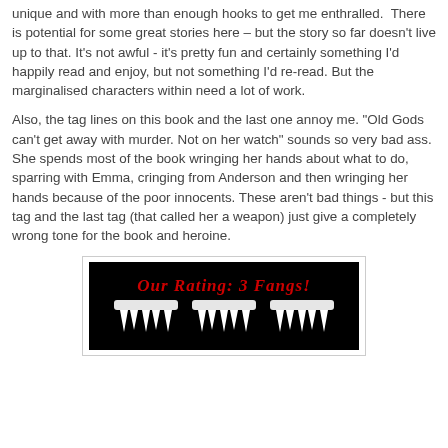unique and with more than enough hooks to get me enthralled.  There is potential for some great stories here – but the story so far doesn't live up to that. It's not awful - it's pretty fun and certainly something I'd happily read and enjoy, but not something I'd re-read. But the marginalised characters within need a lot of work.
Also, the tag lines on this book and the last one annoy me. "Old Gods can't get away with murder. Not on her watch" sounds so very bad ass. She spends most of the book wringing her hands about what to do, sparring with Emma, cringing from Anderson and then wringing her hands because of the poor innocents. These aren't bad things - but this tag and the last tag (that called her a weapon) just give a completely wrong tone for the book and heroine.
[Figure (other): Black banner image with red stylized text reading 'OUR RATING: 3 FANGS!' and three pairs of white vampire fangs below the text.]